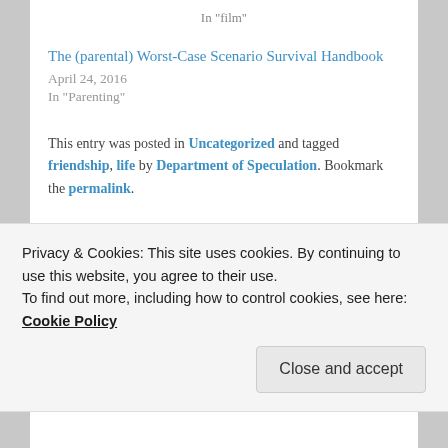In "film"
The (parental) Worst-Case Scenario Survival Handbook
April 24, 2016
In "Parenting"
This entry was posted in Uncategorized and tagged friendship, life by Department of Speculation. Bookmark the permalink.
5 THOUGHTS ON "SCENES FROM A COURT SUMMONS"
Privacy & Cookies: This site uses cookies. By continuing to use this website, you agree to their use.
To find out more, including how to control cookies, see here: Cookie Policy